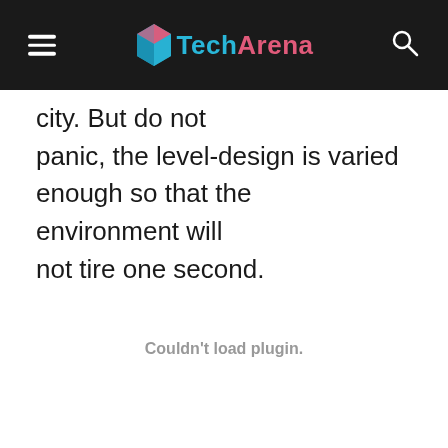TechArena
city. But do not panic, the level-design is varied enough so that the environment will not tire one second.
[Figure (other): Embedded plugin area showing 'Couldn't load plugin.' message]